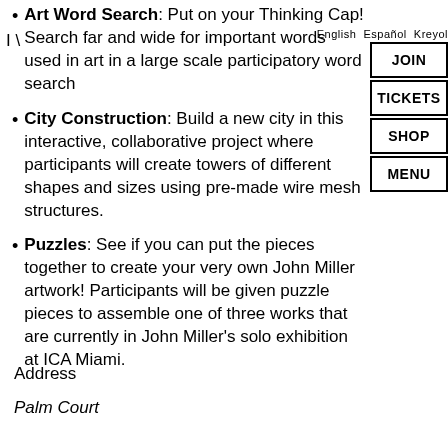English  Español  Kreyol
JOIN
TICKETS
SHOP
MENU
Art Word Search: Put on your Thinking Cap! Search far and wide for important words used in art in a large scale participatory word search
City Construction: Build a new city in this interactive, collaborative project where participants will create towers of different shapes and sizes using pre-made wire mesh structures.
Puzzles: See if you can put the pieces together to create your very own John Miller artwork! Participants will be given puzzle pieces to assemble one of three works that are currently in John Miller's solo exhibition at ICA Miami.
Address
Palm Court